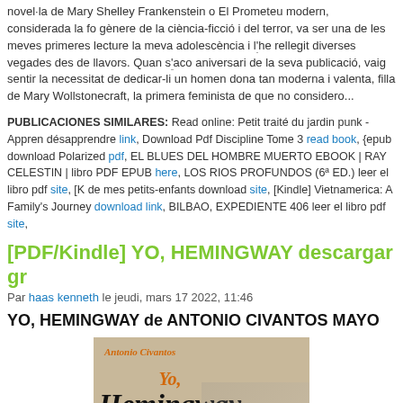novel·la de Mary Shelley Frankenstein o El Prometeu modern, considerada la fo gènere de la ciència-ficció i del terror, va ser una de les meves primeres lecture la meva adolescència i l'he rellegit diverses vegades des de llavors. Quan s'aco aniversari de la seva publicació, vaig sentir la necessitat de dedicar-li un homen dona tan moderna i valenta, filla de Mary Wollstonecraft, la primera feminista de que no considero...
PUBLICACIONES SIMILARES: Read online: Petit traité du jardin punk - Appren désapprendre link, Download Pdf Discipline Tome 3 read book, {epub download Polarized pdf, EL BLUES DEL HOMBRE MUERTO EBOOK | RAY CELESTIN | libro PDF EPUB here, LOS RIOS PROFUNDOS (6ª ED.) leer el libro pdf site, [K de mes petits-enfants download site, [Kindle] Vietnamerica: A Family's Journey download link, BILBAO, EXPEDIENTE 406 leer el libro pdf site,
[PDF/Kindle] YO, HEMINGWAY descargar gr
Par haas kenneth le jeudi, mars 17 2022, 11:46
YO, HEMINGWAY de ANTONIO CIVANTOS MAYO
[Figure (photo): Book cover of 'Yo, Hemingway' by Antonio Civantos. Orange author name at top, large bold italic title 'Yo, Hemingway', subtitle 'Confesiones desde el otro lado' at bottom.]